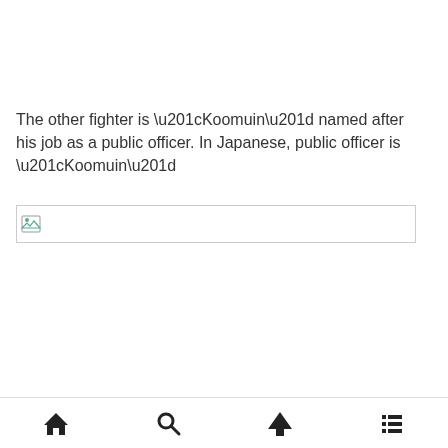The other fighter is “Koomuin” named after his job as a public officer. In Japanese, public officer is “Koomuin”
[Figure (photo): Broken/missing image placeholder with small image icon on left and gray border rectangle]
Navigation bar with home, search, up arrow, and list/menu icons